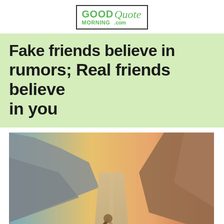GOOD MORNING Quote .com
Fake friends believe in rumors; Real friends believe in you
[Figure (photo): Two young girls standing on a road with mountains in background, raising their joined hands up, viewed from behind. Warm vintage filter applied.]